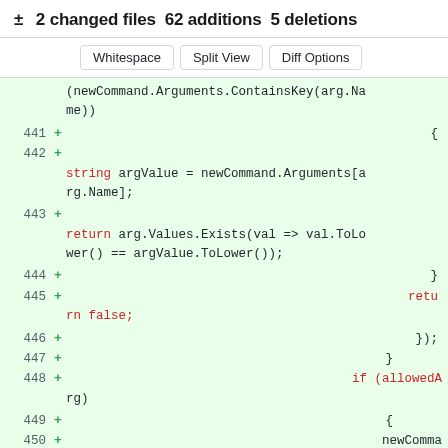± 2 changed files  62 additions  5 deletions
Whitespace  Split View  Diff Options
[Figure (screenshot): Code diff view showing lines 441-450 of a C# file with additions marked with + signs. Lines show code for checking argument values using newCommand.Arguments.ContainsKey, string argValue assignment, return statement with arg.Values.Exists lambda, return false, closing braces, if (allowedArg) conditional, and newComma continuation.]